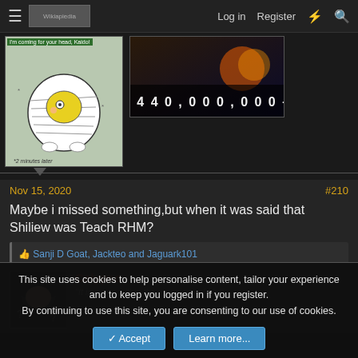Log in  Register
[Figure (screenshot): Two images: left is a cartoon snail drawing with text 'I'm coming for your head, Kaido!' and '2 minutes later'; right is a dark game screenshot with '$440,000,000-' text overlay]
Nov 15, 2020  #210
Maybe i missed something,but when it was said that Shiliew was Teach RHM?
Sanji D Goat, Jackteo and Jaguark101
Calypso
"It is warm within the mansions of Hel"
This site uses cookies to help personalise content, tailor your experience and to keep you logged in if you register.
By continuing to use this site, you are consenting to our use of cookies.
Accept  Learn more...